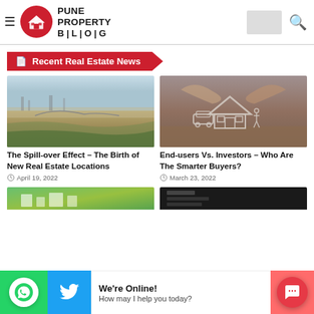Pune Property Blog
Recent Real Estate News
[Figure (photo): Aerial view of a construction/development site with landscape]
The Spill-over Effect – The Birth of New Real Estate Locations
April 19, 2022
[Figure (photo): Hands forming a roof shape over miniature car, family figures and house]
End-users Vs. Investors – Who Are The Smarter Buyers?
March 23, 2022
We're Online!
How may I help you today?